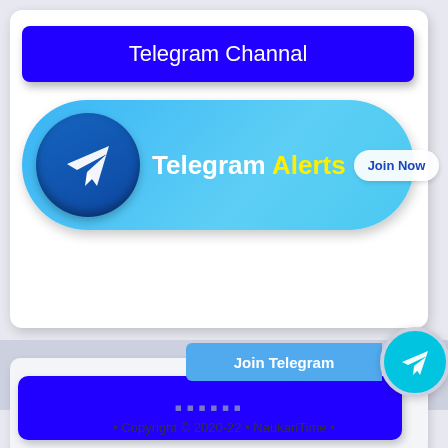Telegram Channal
[Figure (infographic): Telegram Alerts Join Now button with Telegram logo icon on blue gradient rounded rectangle background]
Join Telegram
▪▪▪▪▪▪
• Copyright © 2020-22 • NaukariTime •